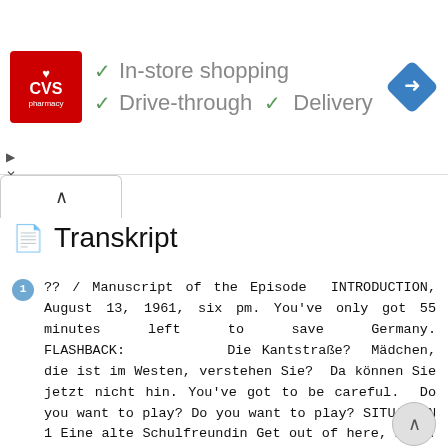[Figure (screenshot): CVS Pharmacy ad banner showing logo and checkmarks for In-store shopping, Drive-through, and Delivery services, with a blue navigation arrow icon on the right]
Transkript
?? / Manuscript of the Episode INTRODUCTION, August 13, 1961, six pm. You've only got 55 minutes left to save Germany. FLASHBACK: Die Kantstraße? Mädchen, die ist im Westen, verstehen Sie? Da können Sie jetzt nicht hin. You've got to be careful. Do you want to play? Do you want to play? SITUATION 1 Eine alte Schulfreundin Get out of here, Anna. Find somewhere to hide! It's the black helmets again! A rather dreary looking